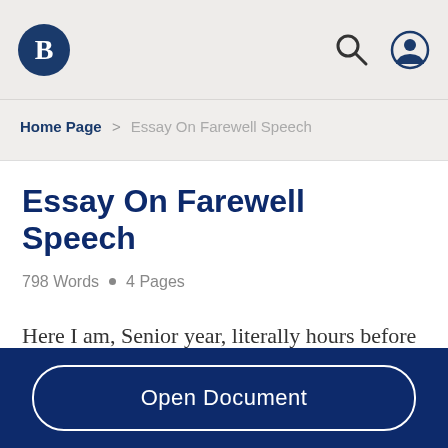Bartleby logo, search icon, user icon
Home Page > Essay On Farewell Speech
Essay On Farewell Speech
798 Words • 4 Pages
Here I am, Senior year, literally hours before my freedom, but I really want to say something to you
Open Document